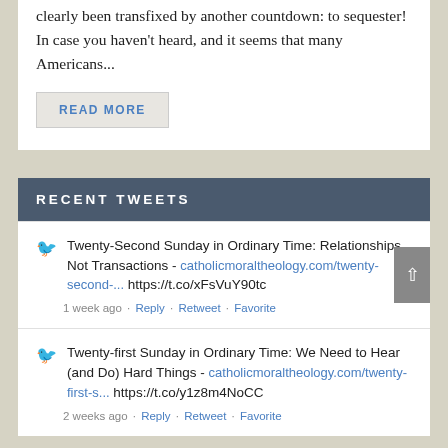clearly been transfixed by another countdown: to sequester! In case you haven't heard, and it seems that many Americans...
READ MORE
RECENT TWEETS
Twenty-Second Sunday in Ordinary Time: Relationships, Not Transactions - catholicmoraltheology.com/twenty-second-... https://t.co/xFsVuY90tc
1 week ago · Reply · Retweet · Favorite
Twenty-first Sunday in Ordinary Time: We Need to Hear (and Do) Hard Things - catholicmoraltheology.com/twenty-first-s... https://t.co/y1z8m4NoCC
2 weeks ago · Reply · Retweet · Favorite